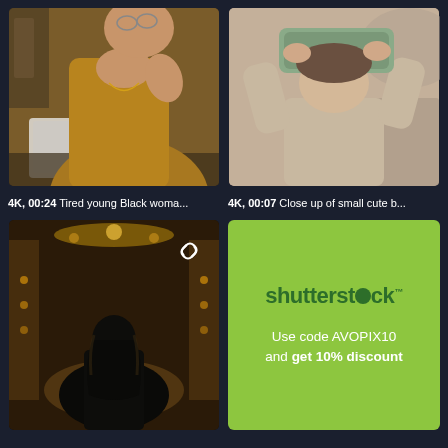[Figure (photo): Tired young Black woman at laptop, wearing golden/mustard shirt]
[Figure (photo): Close up of small cute boy looking through cardboard tube telescope]
4K, 00:24 Tired young Black woma...
4K, 00:07 Close up of small cute b...
[Figure (photo): Silhouette of woman in ornate theatre with warm chandelier lighting, link icon overlay]
[Figure (infographic): Shutterstock promotional banner on lime green background: Use code AVOPIX10 and get 10% discount]